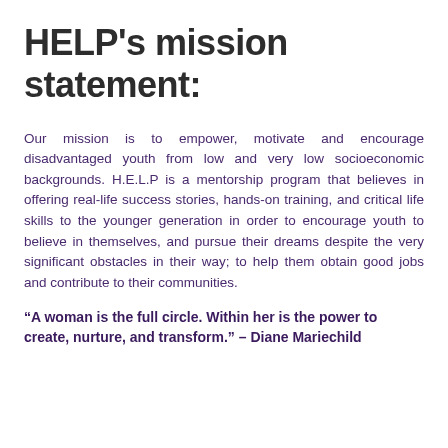HELP's mission statement:
Our mission is to empower, motivate and encourage disadvantaged youth from low and very low socioeconomic backgrounds. H.E.L.P is a mentorship program that believes in offering real-life success stories, hands-on training, and critical life skills to the younger generation in order to encourage youth to believe in themselves, and pursue their dreams despite the very significant obstacles in their way; to help them obtain good jobs and contribute to their communities.
“A woman is the full circle. Within her is the power to create, nurture, and transform.” – Diane Mariechild